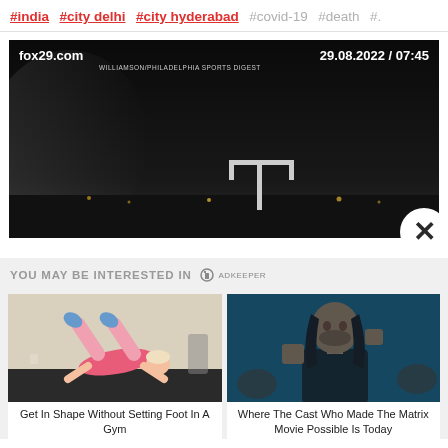#india  #city delhi  #city hyderabad  #covid-19  #death  #.
[Figure (screenshot): Screenshot of fox29.com news video showing a dark nighttime football field scene. Top-left shows 'fox29.com', top-right shows '29.08.2022 / 07:45'. Small watermark text 'WILLIAMSON/PHILADELPHIA SPORTS DIGEST' visible. A football goalpost is visible in the lower center. Bottom-right has a white circular close button with an X.]
YOU MAY BE INTERESTED IN
[Figure (photo): Woman doing bridge exercise on gym mat, wearing pink shorts and blue shoes. Light background.]
Get In Shape Without Setting Foot In A Gym
[Figure (photo): Dark-haired man in action pose against blue/teal background, from The Matrix movie.]
Where The Cast Who Made The Matrix Movie Possible Is Today